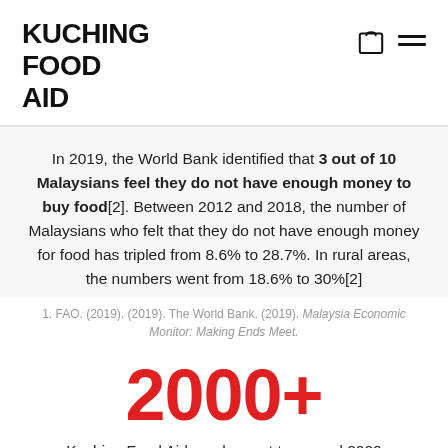KUCHING FOOD AID
In 2019, the World Bank identified that 3 out of 10 Malaysians feel they do not have enough money to buy food[2]. Between 2012 and 2018, the number of Malaysians who felt that they do not have enough money for food has tripled from 8.6% to 28.7%. In rural areas, the numbers went from 18.6% to 30%[2]
1. FAO. (2019). (2019). The World Bank. (2019). Malaysia Economic Monitor: Making Ends Meet.
2000+
Kuching Food Aid reaches out to around 2000